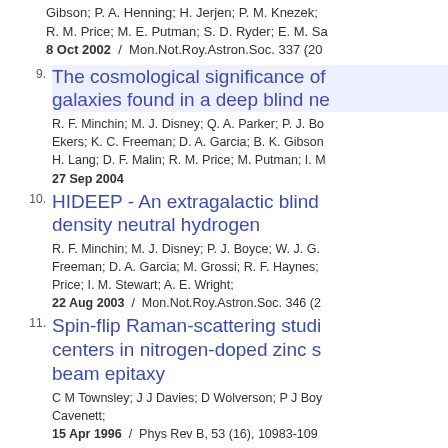Gibson; P. A. Henning; H. Jerjen; P. M. Knezek; R. M. Price; M. E. Putman; S. D. Ryder; E. M. Sa
8 Oct 2002  /  Mon.Not.Roy.Astron.Soc. 337 (20
9. The cosmological significance of galaxies found in a deep blind n...
R. F. Minchin; M. J. Disney; Q. A. Parker; P. J. Bo Ekers; K. C. Freeman; D. A. Garcia; B. K. Gibson H. Lang; D. F. Malin; R. M. Price; M. Putman; I. M
27 Sep 2004
10. HIDEEP - An extragalactic blind density neutral hydrogen
R. F. Minchin; M. J. Disney; P. J. Boyce; W. J. G. Freeman; D. A. Garcia; M. Grossi; R. F. Haynes; Price; I. M. Stewart; A. E. Wright;
22 Aug 2003  /  Mon.Not.Roy.Astron.Soc. 346 (2
11. Spin-flip Raman-scattering studi centers in nitrogen-doped zinc s beam epitaxy
C M Townsley; J J Davies; D Wolverson; P J Boy Cavenett;
15 Apr 1996  /  Phys Rev B, 53 (16), 10983-109